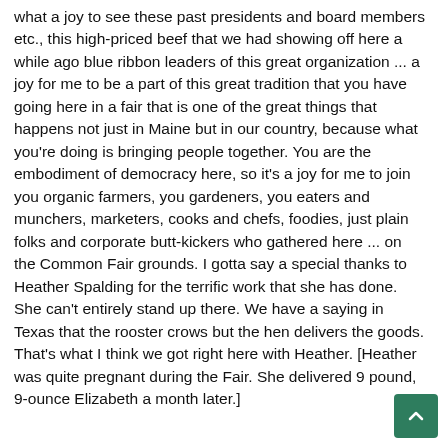what a joy to see these past presidents and board members etc., this high-priced beef that we had showing off here a while ago blue ribbon leaders of this great organization ... a joy for me to be a part of this great tradition that you have going here in a fair that is one of the great things that happens not just in Maine but in our country, because what you're doing is bringing people together. You are the embodiment of democracy here, so it's a joy for me to join you organic farmers, you gardeners, you eaters and munchers, marketers, cooks and chefs, foodies, just plain folks and corporate butt-kickers who gathered here ... on the Common Fair grounds. I gotta say a special thanks to Heather Spalding for the terrific work that she has done. She can't entirely stand up there. We have a saying in Texas that the rooster crows but the hen delivers the goods. That's what I think we got right here with Heather. [Heather was quite pregnant during the Fair. She delivered 9 pound, 9-ounce Elizabeth a month later.]